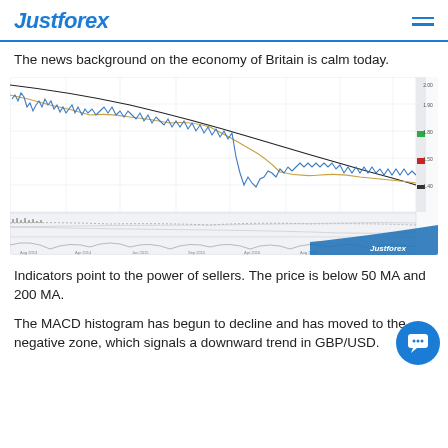Justforex
The news background on the economy of Britain is calm today.
[Figure (continuous-plot): GBP/USD candlestick price chart with 50 MA (orange) and 200 MA (black/gray) moving averages, horizontal support/resistance levels shown as colored lines on the right (green and red), with MACD histogram and oscillator subcharts below. Price shows a downward trend. Chart branded with Justforex logo.]
Indicators point to the power of sellers. The price is below 50 MA and 200 MA.
The MACD histogram has begun to decline and has moved to the negative zone, which signals a downward trend in GBP/USD.